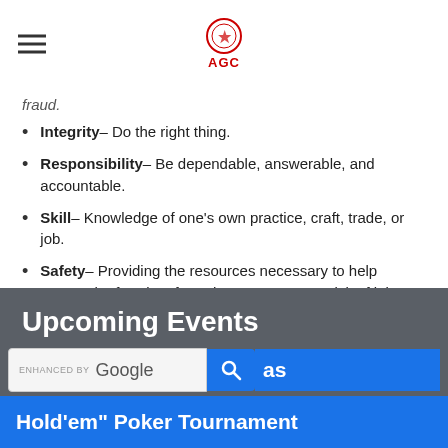AGC
fraud.
Integrity– Do the right thing.
Responsibility– Be dependable, answerable, and accountable.
Skill– Knowledge of one's own practice, craft, trade, or job.
Safety– Providing the resources necessary to help ensure the freedom from the occurrence or risk of injury, danger, or loss.
Upcoming Events
enhanced by Google
as Hold'em" Poker Tournament